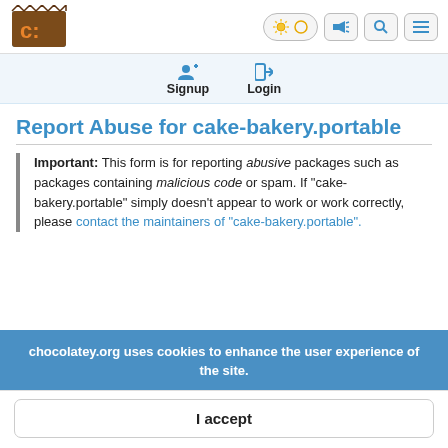[Figure (logo): Chocolatey logo — brown chocolate wrapper with orange 'c:' text]
Chocolatey website header with toggle, megaphone, search, and menu icons
Signup   Login
Report Abuse for cake-bakery.portable
Important: This form is for reporting abusive packages such as packages containing malicious code or spam. If "cake-bakery.portable" simply doesn't appear to work or work correctly, please contact the maintainers of "cake-bakery.portable".
chocolatey.org uses cookies to enhance the user experience of the site.
I accept